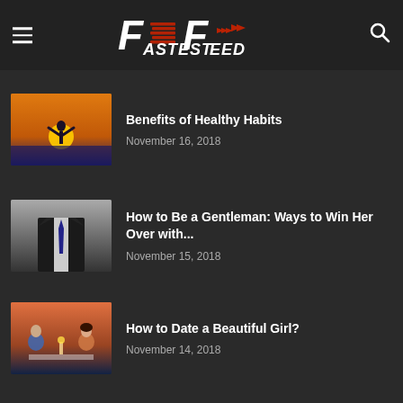Fastest Feed
[Figure (photo): Silhouette of person with arms raised at sunset over water]
Benefits of Healthy Habits
November 16, 2018
[Figure (photo): Man in suit with tie, holding something, close-up]
How to Be a Gentleman: Ways to Win Her Over with...
November 15, 2018
[Figure (photo): Couple on a romantic dinner date by the water at sunset]
How to Date a Beautiful Girl?
November 14, 2018